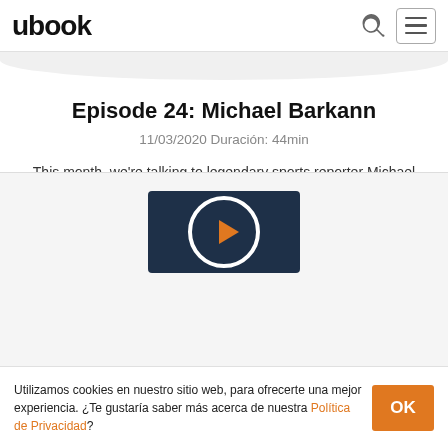ubook
Episode 24: Michael Barkann
11/03/2020 Duración: 44min
This month, we're talking to legendary sports reporter Michael Barkann about his favorite Philly memories. Plus, a deep dive into the results of our 2019 Jewish Philly population study and the answer to an eternal question: why do we wear costumes on Purim?
[Figure (other): Podcast cover image card with dark navy background and circular logo icon]
Utilizamos cookies en nuestro sitio web, para ofrecerte una mejor experiencia. ¿Te gustaría saber más acerca de nuestra Política de Privacidad?